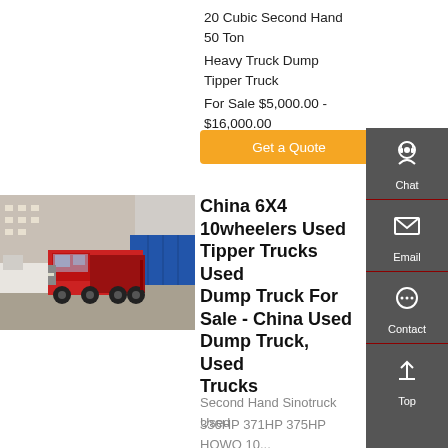20 Cubic Second Hand 50 Ton Heavy Truck Dump Tipper Truck For Sale $5,000.00 - $16,000.00 1.0 Sets (MOQ) CN
Get a Quote
[Figure (photo): Red heavy truck/tractor unit parked at a facility with other trucks in background]
China 6X4 10wheelers Used Tipper Trucks Used Dump Truck For Sale - China Used Dump Truck, Used Trucks
Second Hand Sinotruck Used
336HP 371HP 375HP HOWO 10...